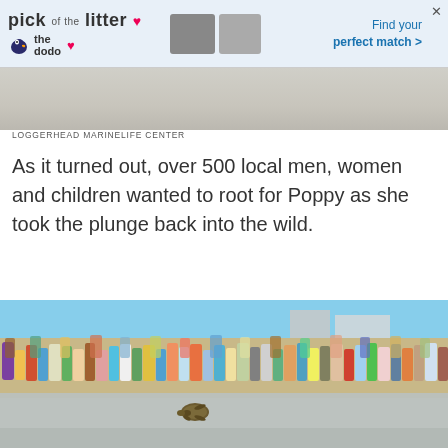[Figure (other): Advertisement banner for The Dodo 'pick of the litter' pet adoption promotion with animal photos and text 'Find your perfect match >']
[Figure (photo): Gray/sandy beach scene, top portion of a large photo showing the beach horizon]
LOGGERHEAD MARINELIFE CENTER
As it turned out, over 500 local men, women and children wanted to root for Poppy as she took the plunge back into the wild.
[Figure (photo): A large crowd of over 500 people standing on a beach watching a sea turtle (Poppy) crawl across the wet sand toward the water. Buildings visible in background, bright sunny day.]